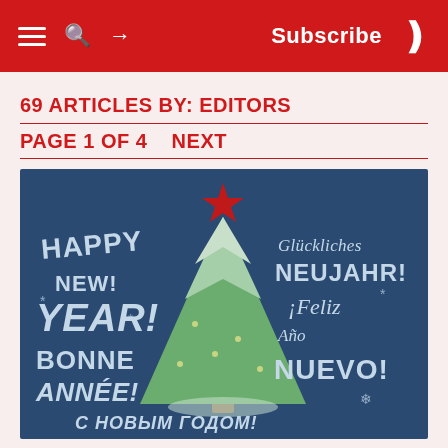Subscribe
69 ARTICLES BY: EDITORS
PAGE 1 OF 4    NEXT
[Figure (illustration): A decorative New Year greeting card with a dark blue background featuring a stylized green Christmas/New Year tree with a red star on top, surrounded by multilingual 'Happy New Year' greetings: English 'HAPPY NEW YEAR!', French 'BONNE ANNÉE!', German 'Glückliches NEUJAHR!', Spanish '¡Feliz Año Nuevo!', Russian 'С НОВЫМ ГОДОМ!']